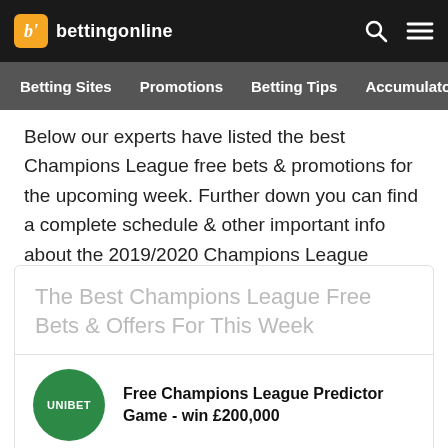bettingonline — Betting Sites | Promotions | Betting Tips | Accumulator Tips
Below our experts have listed the best Champions League free bets & promotions for the upcoming week. Further down you can find a complete schedule & other important info about the 2019/2020 Champions League season.
The Best Champions League Free Bets & Offers For This Week
Free Champions League Predictor Game - win £200,000